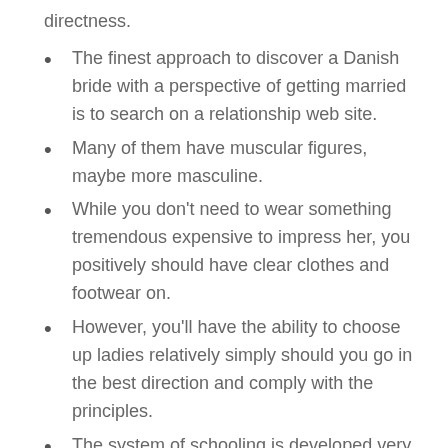directness.
The finest approach to discover a Danish bride with a perspective of getting married is to search on a relationship web site.
Many of them have muscular figures, maybe more masculine.
While you don't need to wear something tremendous expensive to impress her, you positively should have clear clothes and footwear on.
However, you'll have the ability to choose up ladies relatively simply should you go in the best direction and comply with the principles.
The system of schooling is developed very well in Denmark.
Mia Rosing is a properly known scorching Danish mannequin who has been photographed for the covers of Madame Figaro, Topmodel and Elle